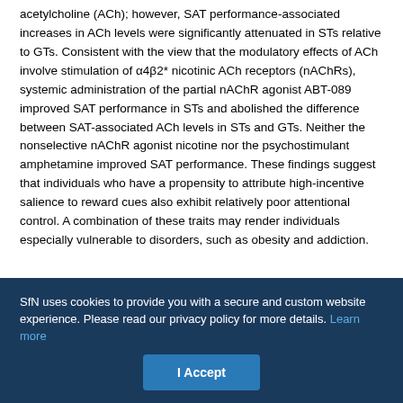acetylcholine (ACh); however, SAT performance-associated increases in ACh levels were significantly attenuated in STs relative to GTs. Consistent with the view that the modulatory effects of ACh involve stimulation of α4β2* nicotinic ACh receptors (nAChRs), systemic administration of the partial nAChR agonist ABT-089 improved SAT performance in STs and abolished the difference between SAT-associated ACh levels in STs and GTs. Neither the nonselective nAChR agonist nicotine nor the psychostimulant amphetamine improved SAT performance. These findings suggest that individuals who have a propensity to attribute high-incentive salience to reward cues also exhibit relatively poor attentional control. A combination of these traits may render individuals especially vulnerable to disorders, such as obesity and addiction.
SfN uses cookies to provide you with a secure and custom website experience. Please read our privacy policy for more details. Learn more